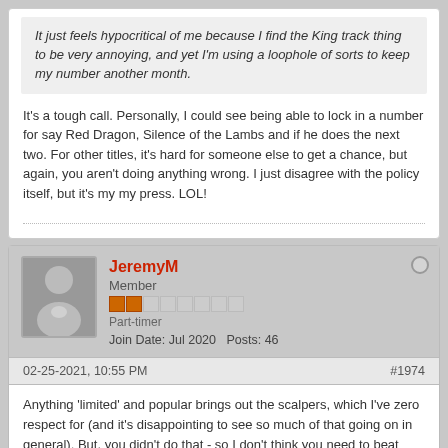It just feels hypocritical of me because I find the King track thing to be very annoying, and yet I'm using a loophole of sorts to keep my number another month.
It's a tough call. Personally, I could see being able to lock in a number for say Red Dragon, Silence of the Lambs and if he does the next two. For other titles, it's hard for someone else to get a chance, but again, you aren't doing anything wrong. I just disagree with the policy itself, but it's my my press. LOL!
JeremyM
Member
Part-timer
Join Date: Jul 2020   Posts: 46
02-25-2021, 10:55 PM
#1974
Anything 'limited' and popular brings out the scalpers, which I've zero respect for (and it's disappointing to see so much of that going on in general). But, you didn't do that - so I don't think you need to beat yourself up on the ethics of the sale.
One thought though - a transaction with a long duration between purchase and fulfillment does carry some increased risk for the buyer. Presumably